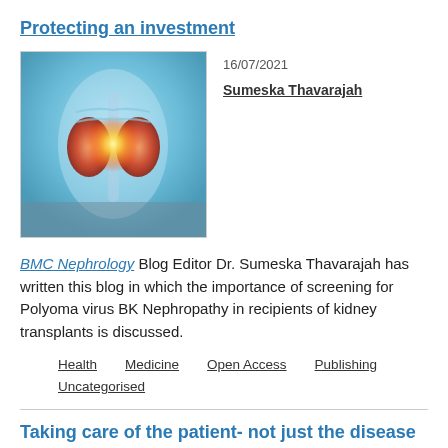Protecting an investment
[Figure (photo): Medical illustration of human torso showing kidneys highlighted in orange/red with glowing light effect, against a blue background]
16/07/2021
Sumeska Thavarajah
BMC Nephrology Blog Editor Dr. Sumeska Thavarajah has written this blog in which the importance of screening for Polyoma virus BK Nephropathy in recipients of kidney transplants is discussed.
Health
Medicine
Open Access
Publishing
Uncategorised
Taking care of the patient- not just the disease